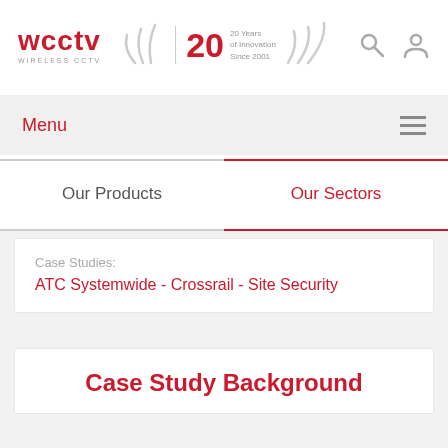[Figure (logo): WCCTV Wireless CCTV logo with 20 Years of Innovation Since 2001 badge and decorative signal arc elements]
Menu
Our Products
Our Sectors
Case Studies:
ATC Systemwide - Crossrail - Site Security
Case Study Background